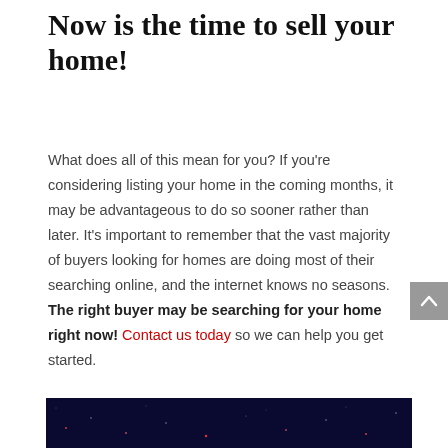Now is the time to sell your home!
What does all of this mean for you? If you're considering listing your home in the coming months, it may be advantageous to do so sooner rather than later. It's important to remember that the vast majority of buyers looking for homes are doing most of their searching online, and the internet knows no seasons. The right buyer may be searching for your home right now! Contact us today so we can help you get started.
[Figure (photo): Dark night sky image with small lights, partially visible at bottom of page]